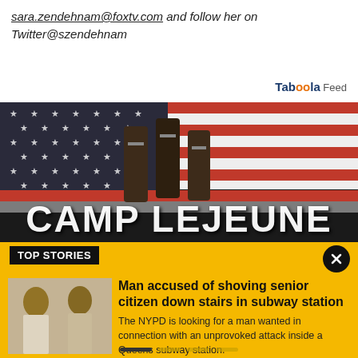sara.zendehnam@foxtv.com and follow her on Twitter@szendehnam
Taboola Feed
[Figure (photo): Camp Lejeune promotional image showing an American flag with military boots and large text reading CAMP LEJEUNE]
TOP STORIES
[Figure (photo): Thumbnail image of a man wanted in connection with an attack in a Queens subway station]
Man accused of shoving senior citizen down stairs in subway station
The NYPD is looking for a man wanted in connection with an unprovoked attack inside a Queens subway station.